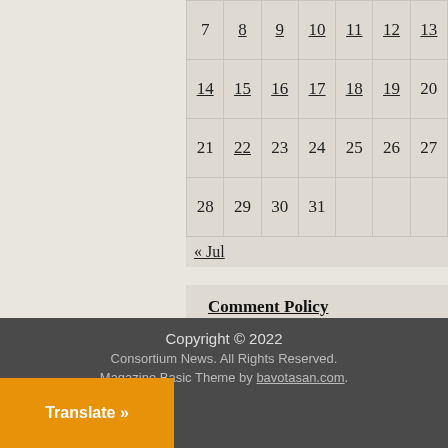| 7 | 8 | 9 | 10 | 11 | 12 | 13 |
| 14 | 15 | 16 | 17 | 18 | 19 | 20 |
| 21 | 22 | 23 | 24 | 25 | 26 | 27 |
| 28 | 29 | 30 | 31 |  |  |  |
« Jul
Comment Policy
Privacy Policy
Contact Us
Copyright © 2022
Consortium News. All Rights Reserved.
Magazine Basic Theme by bavotasan.com.